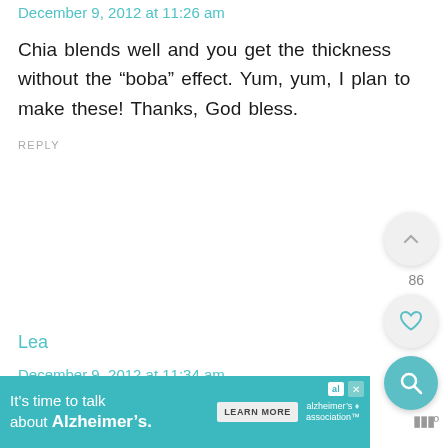December 9, 2012 at 11:26 am
Chia blends well and you get the thickness without the “boba” effect. Yum, yum, I plan to make these! Thanks, God bless.
REPLY
Lea
December 9, 2012 at 11:34 am
Do you use sweetend almond milk?
[Figure (other): Floating action buttons: up-vote chevron, count 86, heart/like, and teal search magnifier]
[Figure (other): Ad banner: It’s time to talk about Alzheimer’s. with Learn More button and Alzheimer's Association logo, close button, and mic icon]